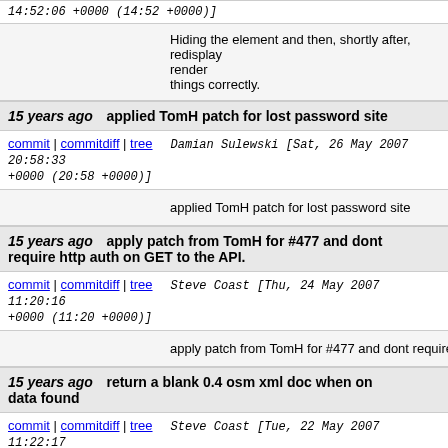14:52:06 +0000 (14:52 +0000)]
Hiding the element and then, shortly after, redisplay render things correctly.
15 years ago   applied TomH patch for lost password site
commit | commitdiff | tree   Damian Sulewski [Sat, 26 May 2007 20:58:33 +0000 (20:58 +0000)]
applied TomH patch for lost password site
15 years ago   apply patch from TomH for #477 and dont require http auth on GET to the API.
commit | commitdiff | tree   Steve Coast [Thu, 24 May 2007 11:20:16 +0000 (11:20 +0000)]
apply patch from TomH for #477 and dont require
15 years ago   return a blank 0.4 osm xml doc when on data found
commit | commitdiff | tree   Steve Coast [Tue, 22 May 2007 11:22:17 +0000 (11:22 +0000)]
return a blank 0.4 osm xml doc when on data foun